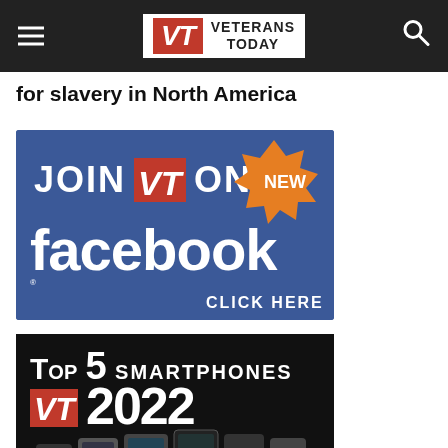Veterans Today
for slavery in North America
[Figure (illustration): JOIN VT ON NEW facebook CLICK HERE - Veterans Today Facebook promotional banner with blue background]
[Figure (illustration): TOP 5 SMARTPHONES VT 2022 - promotional graphic with smartphones on black background]